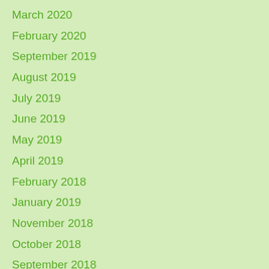March 2020
February 2020
September 2019
August 2019
July 2019
June 2019
May 2019
April 2019
February 2018
January 2019
November 2018
October 2018
September 2018
August 2018
July 2018